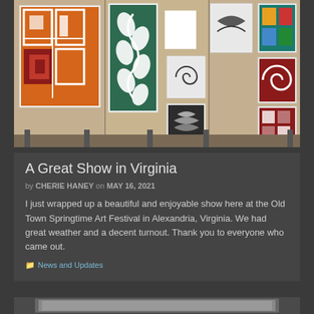[Figure (photo): Art show booth display with colorful framed artworks hanging on beige panels. Various abstract and decorative art pieces visible including geometric patterns, spiral designs, floral motifs, and colorful abstract works arranged in a grid on display panels.]
A Great Show in Virginia
by CHERIE HANEY on MAY 16, 2021
I just wrapped up a beautiful and enjoyable show here at the Old Town Springtime Art Festival in Alexandria, Virginia. We had great weather and a decent turnout. Thank you to everyone who came out.
News and Updates
[Figure (photo): Bottom portion of another blog post image, partially visible at the bottom of the page, showing a dark background with what appears to be an art piece.]